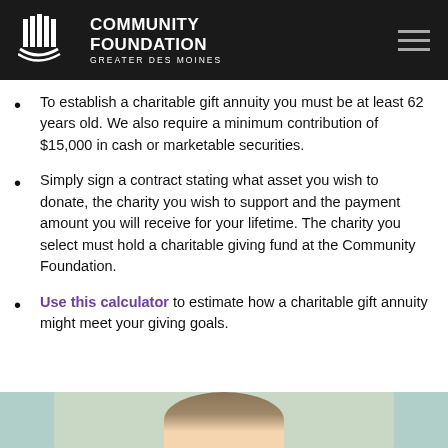Community Foundation Greater Des Moines
To establish a charitable gift annuity you must be at least 62 years old. We also require a minimum contribution of $15,000 in cash or marketable securities.
Simply sign a contract stating what asset you wish to donate, the charity you wish to support and the payment amount you will receive for your lifetime. The charity you select must hold a charitable giving fund at the Community Foundation.
Use this calculator to estimate how a charitable gift annuity might meet your giving goals.
[Figure (photo): Partial photo of a person visible at the bottom of the page, showing hair and upper portion of face against a green/teal background.]